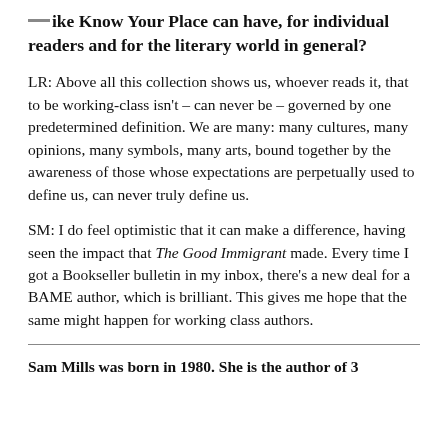like Know Your Place can have, for individual readers and for the literary world in general?
LR: Above all this collection shows us, whoever reads it, that to be working-class isn't – can never be – governed by one predetermined definition. We are many: many cultures, many opinions, many symbols, many arts, bound together by the awareness of those whose expectations are perpetually used to define us, can never truly define us.
SM: I do feel optimistic that it can make a difference, having seen the impact that The Good Immigrant made. Every time I got a Bookseller bulletin in my inbox, there's a new deal for a BAME author, which is brilliant. This gives me hope that the same might happen for working class authors.
Sam Mills was born in 1980. She is the author of 3